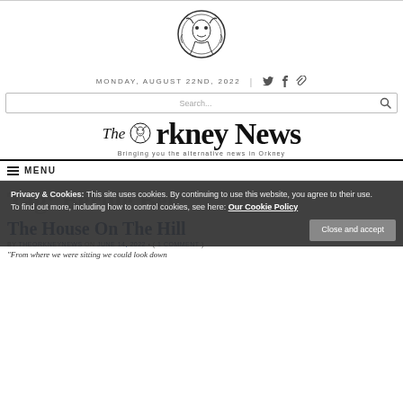[Figure (logo): Circular decorative emblem/crest of The Orkney News]
MONDAY, AUGUST 22ND, 2022
[Figure (illustration): Search bar with magnifying glass icon]
[Figure (logo): The Orkney News masthead logo with tagline: Bringing you the alternative news in Orkney]
MENU
Privacy & Cookies: This site uses cookies. By continuing to use this website, you agree to their use.
To find out more, including how to control cookies, see here: Our Cookie Policy
Tag: Bernie Bell
The House On The Hill
BY THEORKNEYNEWS ON JUNE 14, 2022 • ( 1 COMMENT )
"From where we were sitting we could look down